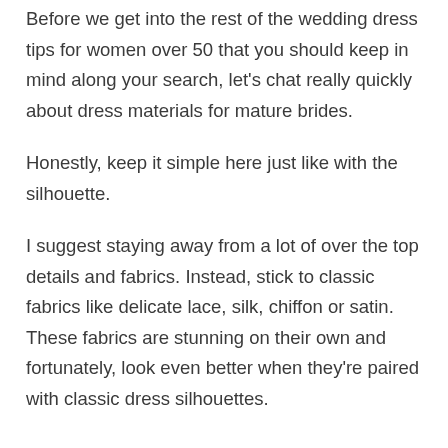Before we get into the rest of the wedding dress tips for women over 50 that you should keep in mind along your search, let's chat really quickly about dress materials for mature brides.
Honestly, keep it simple here just like with the silhouette.
I suggest staying away from a lot of over the top details and fabrics. Instead, stick to classic fabrics like delicate lace, silk, chiffon or satin. These fabrics are stunning on their own and fortunately, look even better when they're paired with classic dress silhouettes.